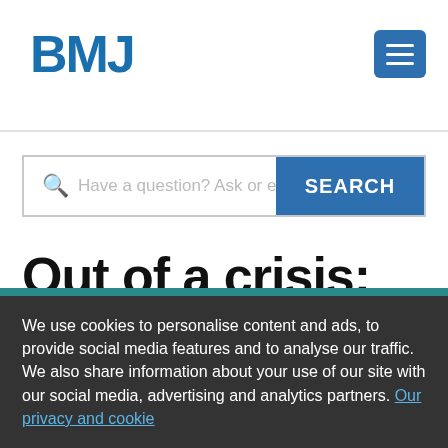BMJ
Have a question? Ask or enter a search term
Out of a crisis: How the Healthcare Safety Investigation Branch can build trust in the
We use cookies to personalise content and ads, to provide social media features and to analyse our traffic. We also share information about your use of our site with our social media, advertising and analytics partners. Our privacy and cookie